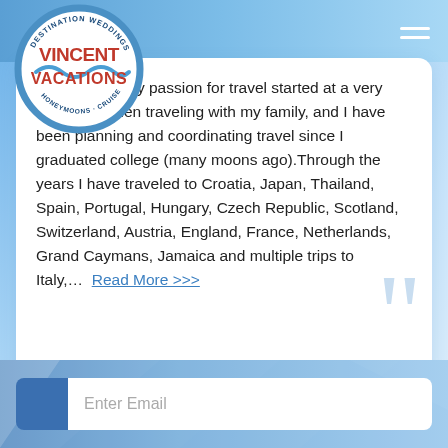[Figure (logo): Vincent Vacations circular logo with text 'Destination Weddings', 'Honeymoons', 'Cruises' around the border and 'VINCENT VACATIONS' in bold red letters in the center with wave graphic]
My passion for travel started at a very early age when traveling with my family, and I have been planning and coordinating travel since I graduated college (many moons ago).Through the years I have traveled to Croatia, Japan, Thailand, Spain, Portugal, Hungary, Czech Republic, Scotland, Switzerland, Austria, England, France, Netherlands, Grand Caymans, Jamaica and multiple trips to Italy,...  Read More >>>
Enter Email